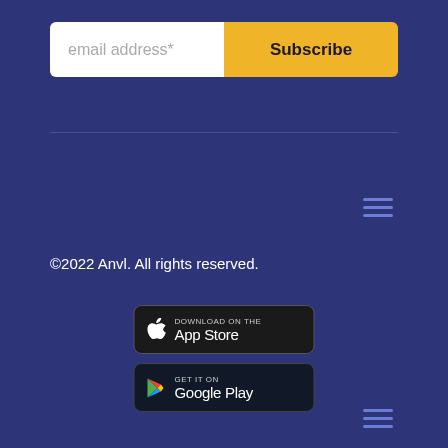[Figure (screenshot): Email subscription input field with placeholder 'email address*' and a yellow 'Subscribe' button]
[Figure (other): Hamburger menu icon (three horizontal lines) in light blue/purple color]
©2022 Anvl. All rights reserved.
[Figure (other): Download on the App Store badge]
[Figure (other): Get it on Google Play badge]
[Figure (other): Second hamburger menu icon (three horizontal lines) at bottom right]